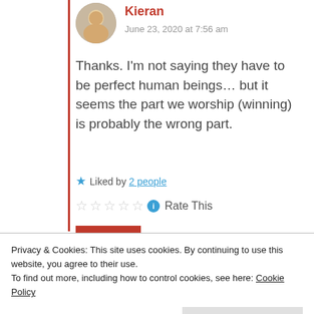Kieran
June 23, 2020 at 7:56 am
Thanks. I'm not saying they have to be perfect human beings... but it seems the part we worship (winning) is probably the wrong part.
Liked by 2 people
Rate This
REPLY
Tippy Gnu
Privacy & Cookies: This site uses cookies. By continuing to use this website, you agree to their use.
To find out more, including how to control cookies, see here: Cookie Policy
Close and accept